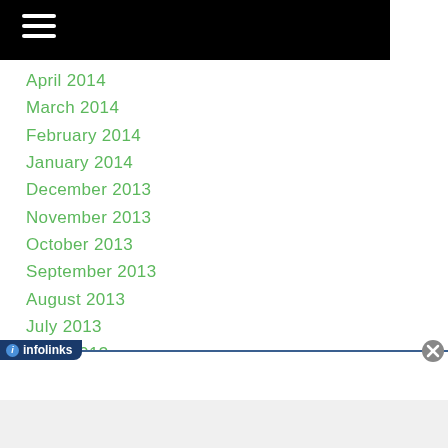April 2014
March 2014
February 2014
January 2014
December 2013
November 2013
October 2013
September 2013
August 2013
July 2013
June 2013
May 2013
April 2013
[Figure (screenshot): Infolinks advertisement overlay bar with close button]